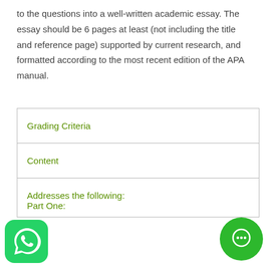to the questions into a well-written academic essay. The essay should be 6 pages at least (not including the title and reference page) supported by current research, and formatted according to the most recent edition of the APA manual.
| Grading Criteria |
| --- |
| Content |
| Addresses the following:
Part One: |